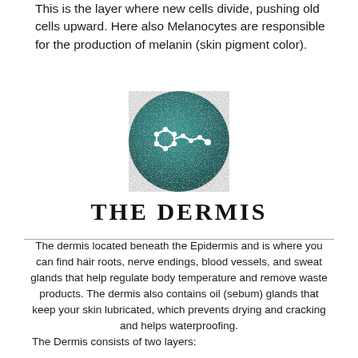This is the layer where new cells divide, pushing old cells upward. Here also Melanocytes are responsible for the production of melanin (skin pigment color).
[Figure (illustration): Teal/dark cyan glittery circle with a white molecular/chemical structure icon (hexagonal ring with chain and circles) centered inside it.]
THE DERMIS
The dermis located beneath the Epidermis and is where you can find hair roots, nerve endings, blood vessels, and sweat glands that help regulate body temperature and remove waste products. The dermis also contains oil (sebum) glands that keep your skin lubricated, which prevents drying and cracking and helps waterproofing.
The Dermis consists of two layers: